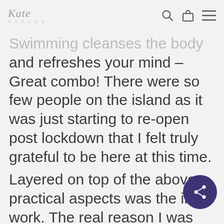Kate Hudson
Swimming cleanses the body and refreshes your mind – Great combo! There were so few people on the island as it was just starting to re-open post lockdown that I felt truly grateful to be here at this time.
Layered on top of the above practical aspects was the inner work. The real reason I was